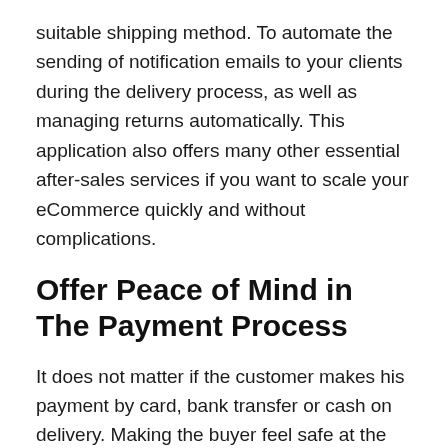suitable shipping method. To automate the sending of notification emails to your clients during the delivery process, as well as managing returns automatically. This application also offers many other essential after-sales services if you want to scale your eCommerce quickly and without complications.
Offer Peace of Mind in The Payment Process
It does not matter if the customer makes his payment by card, bank transfer or cash on delivery. Making the buyer feel safe at the time of payment is a fundamental psychological. Addition that will help you substantially increase the conversion of your eCommerce. And this is